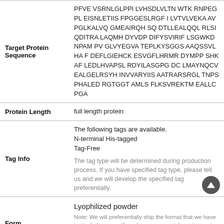| Field | Value |
| --- | --- |
| Target Protein Sequence | PFVE VSRNLGLPPI LVHSDLVLTN WTK RNPEGPL EISNLETIIS FPGGESLRGF I LVTVLVEKA AVPGLKALVQ GMEAIRQH SQ DTLLEALQQL RLSIQDITRA LAQMH DYVDP DIFYSVIRIF LSGWKDNPAM PV GLVYEGVA TEPLKYSGGS AAQSSVLHA F DEFLGIEHCK ESVGFLHRMR DYMPP SHKAF LEDLHVAPSL RDYILASGPG DC LMAYNQCV EALGELRSYH INVVARYIIS AATRARSRGL TNPSPHALED RGTGGT AMLS FLKSVREKTM EALLCPGA |
| Protein Length | full length protein |
| Tag Info | The following tags are available.
N-terminal His-tagged
Tag-Free
[gray]The tag type will be determined during production process. If you have specified tag type, please tell us and we will develop the specified tag preferentially. |
| Form | Lyophilized powder
[note]Note: We will preferentially ship the format that we have in stock, however, if you have any special requirement for the format, please remark your requirement when placing the order we will arrange... |